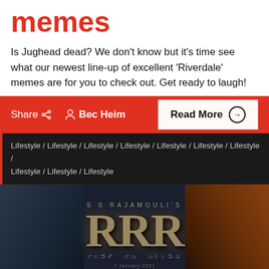memes
Is Jughead dead? We don't know but it's time see what our newest line-up of excellent 'Riverdale' memes are for you to check out. Get ready to laugh!
Share  Bec Heim  Read More
Lifestyle / Lifestyle / Lifestyle / Lifestyle / Lifestyle / Lifestyle / Lifestyle / Lifestyle / Lifestyle / Lifestyle
[Figure (photo): Movie poster for S S Rajamouli's RRR film featuring two dark silhouetted figures and the large metallic RRR logo in the center]